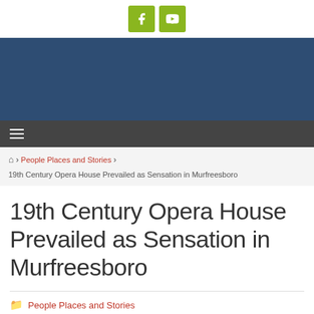[Figure (other): Social media icons: Facebook and YouTube on olive-green square backgrounds]
[Figure (other): Dark blue header banner area]
≡ (hamburger navigation menu icon)
🏠 › People Places and Stories › 19th Century Opera House Prevailed as Sensation in Murfreesboro
19th Century Opera House Prevailed as Sensation in Murfreesboro
📁 People Places and Stories